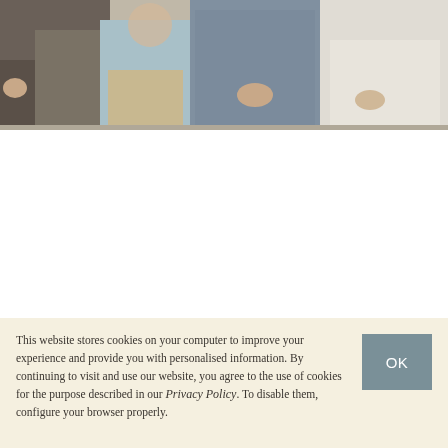[Figure (photo): A family photo showing several people sitting together outdoors near rocks. A man in dark trousers is on the left, a child in khaki in the center, a woman in a floral dress, and a woman in a white dress on the right.]
This website stores cookies on your computer to improve your experience and provide you with personalised information. By continuing to visit and use our website, you agree to the use of cookies for the purpose described in our Privacy Policy. To disable them, configure your browser properly.